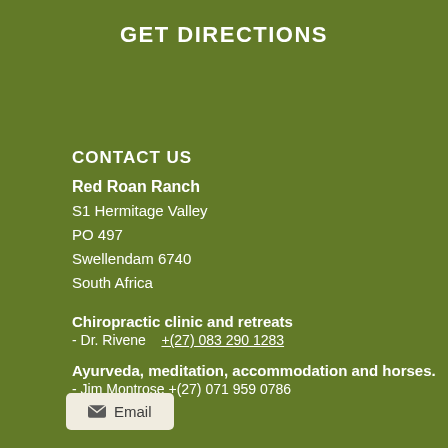GET DIRECTIONS
CONTACT US
Red Roan Ranch
S1 Hermitage Valley
PO 497
Swellendam 6740
South Africa
Chiropractic clinic and retreats
- Dr. Rivene  +(27) 083 290 1283
Ayurveda, meditation, accommodation and horses.
- Jim Montrose  +(27) 071 959 0786
Email